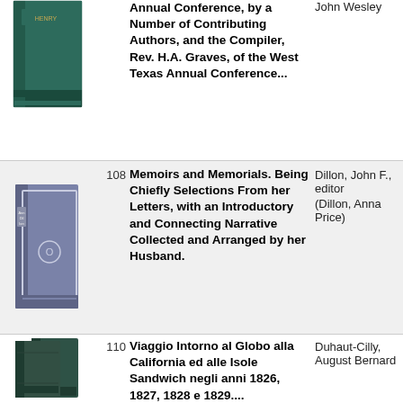| Image | Item# | Title | Author | Subject |
| --- | --- | --- | --- | --- |
| [book image] |  | Annual Conference, by a Number of Contributing Authors, and the Compiler, Rev. H.A. Graves, of the West Texas Annual Conference... | John Wesley |  |
| [book image] | 108 | Memoirs and Memorials. Being Chiefly Selections From her Letters, with an Introductory and Connecting Narrative Collected and Arranged by her Husband. | Dillon, John F., editor | (Dillon, Anna Price) |
| [book image] | 110 | Viaggio Intorno al Globo alla California ed alle Isole Sandwich negli anni 1826, 1827, 1828 e 1829.... | Duhaut-Cilly, August Bernard |  |